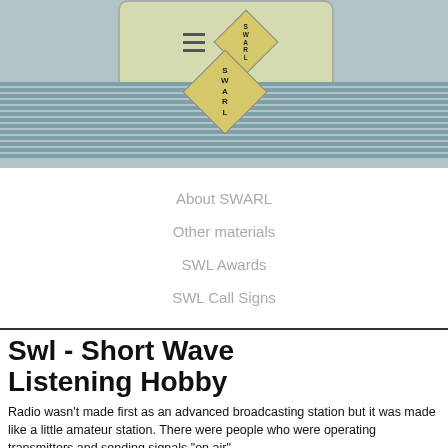[Figure (logo): SWARL website header with a mobile phone mockup containing a hamburger menu icon and a diamond-shaped SWARL logo, over a blue-grey striped background. A larger diamond SWARL logo appears below the phone, overlapping a series of horizontal stripes.]
About SWARL
Other materials
SWL Awards
SWL Call Signs
Swl - Short Wave Listening Hobby
Radio wasn't made first as an advanced broadcasting station but it was made like a little amateur station. There were people who were operating transmitters and sending signals "on air"